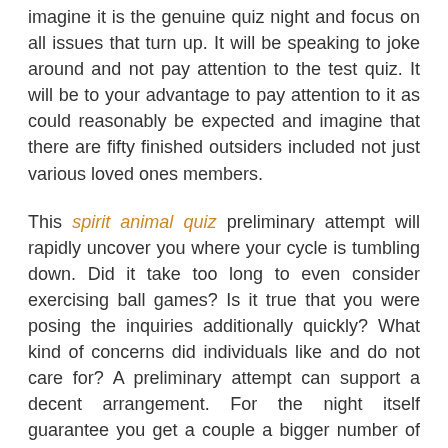imagine it is the genuine quiz night and focus on all issues that turn up. It will be speaking to joke around and not pay attention to the test quiz. It will be to your advantage to pay attention to it as could reasonably be expected and imagine that there are fifty finished outsiders included not just various loved ones members.
This spirit animal quiz preliminary attempt will rapidly uncover you where your cycle is tumbling down. Did it take too long to even consider exercising ball games? Is it true that you were posing the inquiries additionally quickly? What kind of concerns did individuals like and do not care for? A preliminary attempt can support a decent arrangement. For the night itself guarantee you get a couple a bigger number of colleagues than you expect you will require. The significantly more gatherings partaking the much more markers and partners you require. You may have somebody allocated to peruse out the requests and another person doled out to score the appropriate response